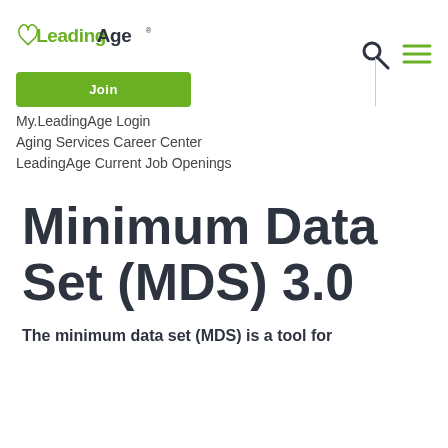LeadingAge
Join
My.LeadingAge Login
Aging Services Career Center
LeadingAge Current Job Openings
Minimum Data Set (MDS) 3.0
The minimum data set (MDS) is a tool for